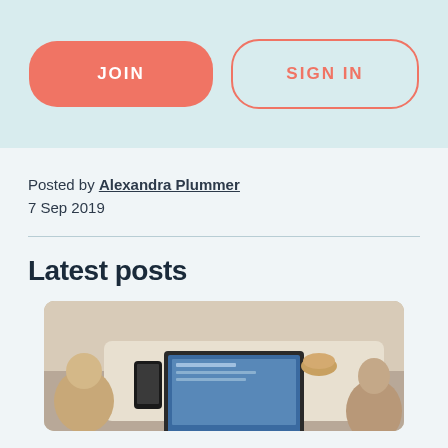[Figure (screenshot): Top banner with light teal/blue background containing two buttons: a salmon/coral filled 'JOIN' button on the left and an outlined 'SIGN IN' button on the right]
Posted by Alexandra Plummer
7 Sep 2019
Latest posts
[Figure (photo): Photo of people working on a laptop at a table, viewed from above, with a phone and coffee cup visible]